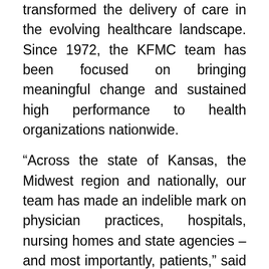transformed the delivery of care in the evolving healthcare landscape. Since 1972, the KFMC team has been focused on bringing meaningful change and sustained high performance to health organizations nationwide.
“Across the state of Kansas, the Midwest region and nationally, our team has made an indelible mark on physician practices, hospitals, nursing homes and state agencies – and most importantly, patients,” said Sarah Irsik-Good, MHA, President and Chief Executive Officer. “We’re incredibly proud that our clients